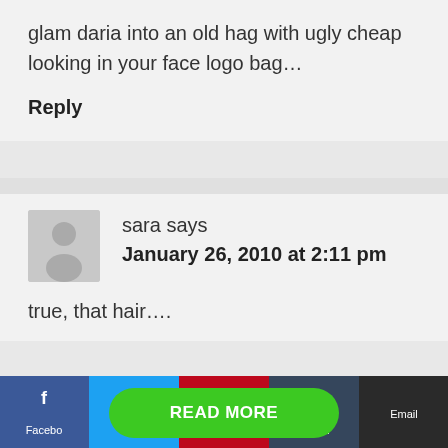glam daria into an old hag with ugly cheap looking in your face logo bag…
Reply
sara says
January 26, 2010 at 2:11 pm
true, that hair….
[Figure (other): Social share bar at bottom with Facebook, Twitter, Pinterest, Tumblr, Email buttons and a green READ MORE button overlay]